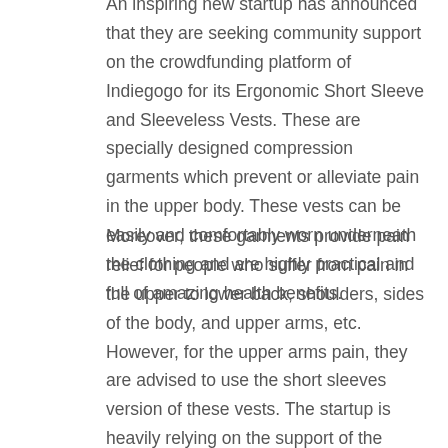An inspiring new startup has announced that they are seeking community support on the crowdfunding platform of Indiegogo for its Ergonomic Short Sleeve and Sleeveless Vests. These are specially designed compression garments which prevent or alleviate pain in the upper body. These vests can be easily and comfortably worn underneath the clothing and are highly practical and full of amazing health benefits.
Moreover, these garments provide pain relief for people who suffer from pain in the upper to lower back, shoulders, sides of the body, and upper arms, etc. However, for the upper arms pain, they are advised to use the short sleeves version of these vests. The startup is heavily relying on the support of the community and everyone is welcome to back this project on Indiegogo.